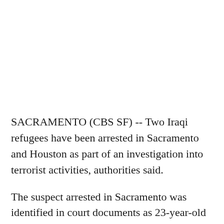SACRAMENTO (CBS SF) -- Two Iraqi refugees have been arrested in Sacramento and Houston as part of an investigation into terrorist activities, authorities said.
The suspect arrested in Sacramento was identified in court documents as 23-year-old Sacramento resident Aws Mohammed Younis Al-Jayab, an Iraqi national who emigrated from Syria to the U.S. as a refugee in